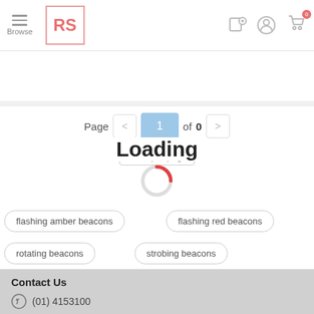[Figure (screenshot): RS Components website header with hamburger menu, RS logo, location pin icon, account icon, and shopping cart icon with badge showing 0]
[Figure (screenshot): Search bar with MPN pill toggle and search field placeholder 'Search by keyword or part no' and pink search icon]
Page < 1 of 0 >
20 ▾ per page
Loading
flashing amber beacons
flashing red beacons
rotating beacons
strobing beacons
Contact Us
(01) 4153100
Services